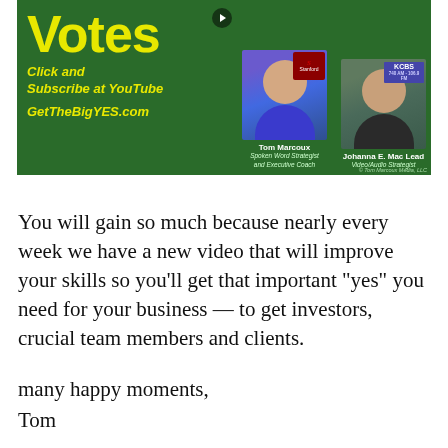[Figure (illustration): Green banner advertisement for 'Votes' YouTube channel. Left side shows yellow bold text 'Votes', italic yellow text 'Click and Subscribe at YouTube' and 'GetTheBigYES.com' on dark green background. Right side shows two people: Tom Marcoux (Spoken Word Strategist and Executive Coach) and Johanna E. Mac Lead (Video/Audio Strategist) with Stanford and KCBS badges visible. Copyright: Tom Marcoux Media, LLC.]
You will gain so much because nearly every week we have a new video that will improve your skills so you’ll get that important “yes” you need for your business — to get investors, crucial team members and clients.
many happy moments,
Tom
Tom Marcoux
Spoken Word Strategist
CEO – Executive Coach – Pitch Coach